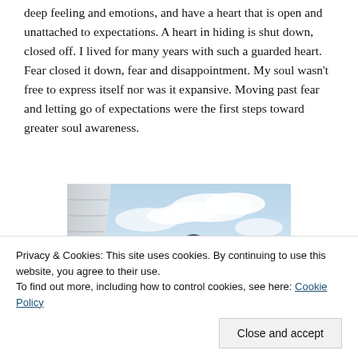deep feeling and emotions, and have a heart that is open and unattached to expectations. A heart in hiding is shut down, closed off. I lived for many years with such a guarded heart. Fear closed it down, fear and disappointment. My soul wasn't free to express itself nor was it expansive. Moving past fear and letting go of expectations were the first steps toward greater soul awareness.
[Figure (photo): A figure of a person with long dark hair viewed from behind, looking upward at a bright blue sky with clouds, with a building structure visible on the left side.]
Privacy & Cookies: This site uses cookies. By continuing to use this website, you agree to their use.
To find out more, including how to control cookies, see here: Cookie Policy